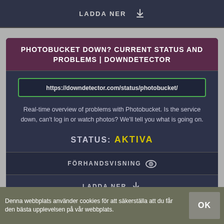LADDA NER ⬇
PHOTOBUCKET DOWN? CURRENT STATUS AND PROBLEMS | DOWNDETECTOR
https://downdetector.com/status/photobucket/
Real-time overview of problems with Photobucket. Is the service down, can't log in or watch photos? We'll tell you what is going on.
STATUS: AKTIVA
FÖRHANDSVISNING 👁
LADDA NER ⬇
PHOTOBUCKET BACKUP FOR WINDOWS - FREE DOWNLOAD
Denna webbplats använder cookies för att säkerställa att du får den bästa upplevelsen på vår webbplats.